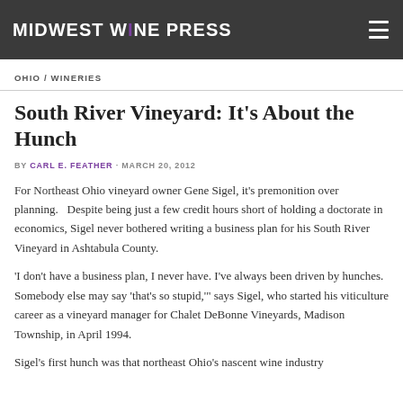MIDWEST WINE PRESS
OHIO / WINERIES
South River Vineyard: It's About the Hunch
BY CARL E. FEATHER · MARCH 20, 2012
For Northeast Ohio vineyard owner Gene Sigel, it's premonition over planning.   Despite being just a few credit hours short of holding a doctorate in economics, Sigel never bothered writing a business plan for his South River Vineyard in Ashtabula County.
'I don't have a business plan, I never have. I've always been driven by hunches. Somebody else may say 'that's so stupid,'" says Sigel, who started his viticulture career as a vineyard manager for Chalet DeBonne Vineyards, Madison Township, in April 1994.
Sigel's first hunch was that northeast Ohio's nascent wine industry